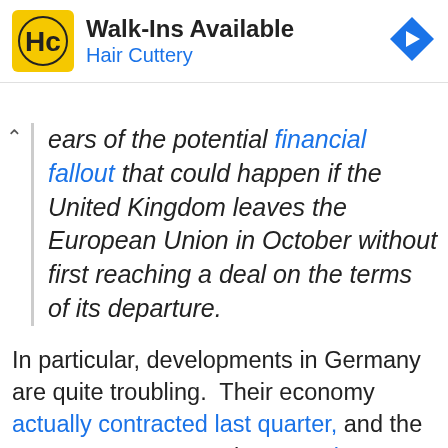[Figure (logo): Hair Cuttery advertisement banner with HC logo, 'Walk-Ins Available' heading, 'Hair Cuttery' subtitle in blue, and a blue navigation arrow icon]
ears of the potential financial fallout that could happen if the United Kingdom leaves the European Union in October without first reaching a deal on the terms of its departure.
In particular, developments in Germany are quite troubling. Their economy actually contracted last quarter, and the German government is "preparing to embrace new fiscal stimulus measures should its economy